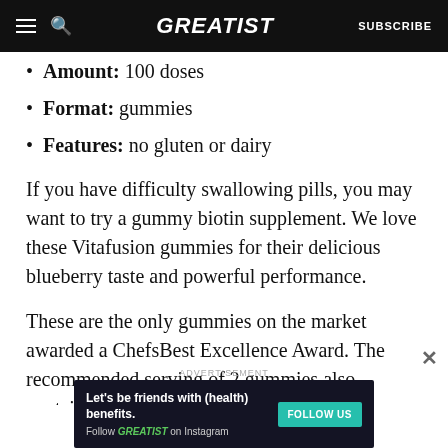GREATIST | SUBSCRIBE
Amount: 100 doses
Format: gummies
Features: no gluten or dairy
If you have difficulty swallowing pills, you may want to try a gummy biotin supplement. We love these Vitafusion gummies for their delicious blueberry taste and powerful performance.
These are the only gummies on the market awarded a ChefsBest Excellence Award. The recommended serving of 2 gummies also contains
ADVERTISEMENT
[Figure (infographic): Advertisement banner: Let's be friends with (health) benefits. Follow GREATIST on Instagram. FOLLOW US button.]